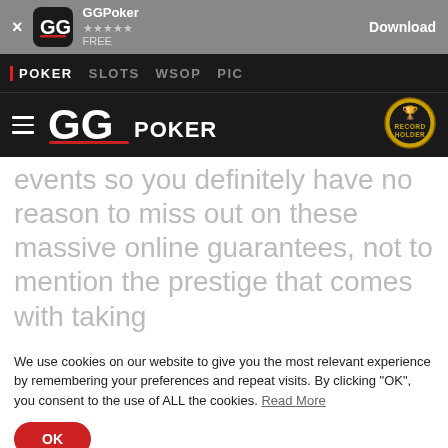[Figure (screenshot): GGPoker app download banner with GG logo icon, 5 star rating, FREE label, and Download button on gray background]
POKER  SLOTS  WSOP  PIC
[Figure (logo): GGPoker logo with hamburger menu icon and Guinness World Record Holder badge on black background]
events so you definitely have no reason to miss out on these massive online guarantees, not to mention the prestige that comes with taking
We use cookies on our website to give you the most relevant experience by remembering your preferences and repeat visits. By clicking "OK", you consent to the use of ALL the cookies. Read More
OK